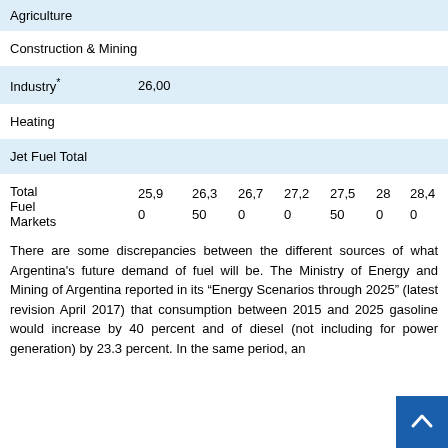| Category | Col1 | Col2 | Col3 | Col4 | Col5 | Col6 | Col7 |
| --- | --- | --- | --- | --- | --- | --- | --- |
| Agriculture |  |  |  |  |  |  |  |
| Construction & Mining |  |  |  |  |  |  |  |
| Industry* | 26,00 |  |  |  |  |  |  |
| Heating |  |  |  |  |  |  |  |
| Jet Fuel Total |  |  |  |  |  |  |  |
| Total Fuel Markets | 25,9 0 | 26,3 50 | 26,7 0 | 27,2 0 | 27,5 50 | 28 0 | 28,4 0 |
There are some discrepancies between the different sources of what Argentina's future demand of fuel will be. The Ministry of Energy and Mining of Argentina reported in its “Energy Scenarios through 2025” (latest revision April 2017) that consumption between 2015 and 2025 gasoline would increase by 40 percent and of diesel (not including for power generation) by 23.3 percent. In the same period, an